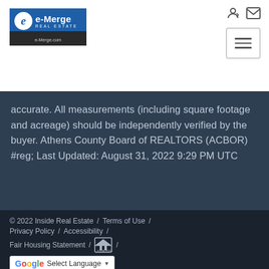[Figure (logo): e-Merge Real Estate logo with blue background and e-Merge.com URL bar at bottom]
accurate. All measurements (including square footage and acreage) should be independently verified by the buyer. Athens County Board of REALTORS (ACBOR) #reg; Last Updated: August 31, 2022 9:29 PM UTC
© 2022 Inside Real Estate / Terms of Use / Privacy Policy / Accessibility / Fair Housing Statement / [Equal Housing Opportunity logo] / [Google Translate widget]